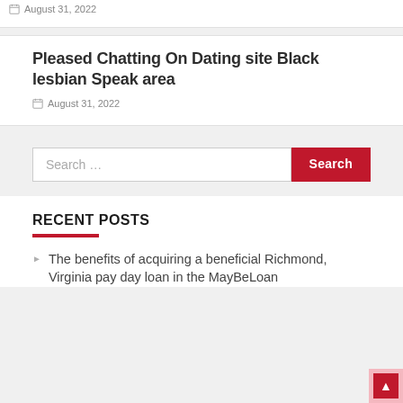August 31, 2022
Pleased Chatting On Dating site Black lesbian Speak area
August 31, 2022
Search …
RECENT POSTS
The benefits of acquiring a beneficial Richmond, Virginia pay day loan in the MayBeLoan